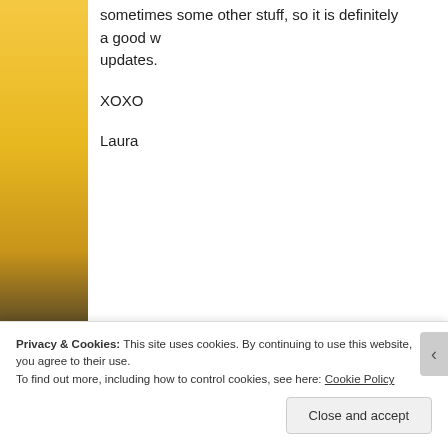[Figure (photo): Yellow bananas with dark spots on left side strip image]
sometimes some other stuff, so it is definitely a good w updates.
XOXO
Laura
Advertisements
[Figure (infographic): Dark navy advertisement banner with teal/green text reading: Turn your blog into a money-making online course. With a teal button at bottom.]
Privacy & Cookies: This site uses cookies. By continuing to use this website, you agree to their use.
To find out more, including how to control cookies, see here: Cookie Policy
Close and accept